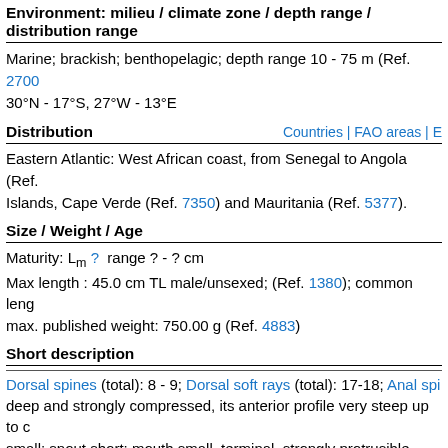Environment: milieu / climate zone / depth range / distribution range
Marine; brackish; benthopelagic; depth range 10 - 75 m (Ref. 27000); 30°N - 17°S, 27°W - 13°E
Distribution | Countries | FAO areas | E…
Eastern Atlantic: West African coast, from Senegal to Angola (Ref. …). Islands, Cape Verde (Ref. 7350) and Mauritania (Ref. 5377).
Size / Weight / Age
Maturity: Lm ?  range ? - ? cm
Max length : 45.0 cm TL male/unsexed; (Ref. 1380); common leng… max. published weight: 750.00 g (Ref. 4883)
Short description
Dorsal spines (total): 8 - 9; Dorsal soft rays (total): 17-18; Anal spi… deep and strongly compressed, its anterior profile very steep up to c… small; snout short; mouth small, terminal, strongly protrusible, with… bands in upper jaw; roof of mouth toothless; dorsal fin deeply notch… and visible only in young individuals; pectorals falcate, very long, t… hind margin of caudal fin slightly rounded; pelvic fins thoracic; sca… dorsal and anal fins and head, except snout and preopercle; preo…